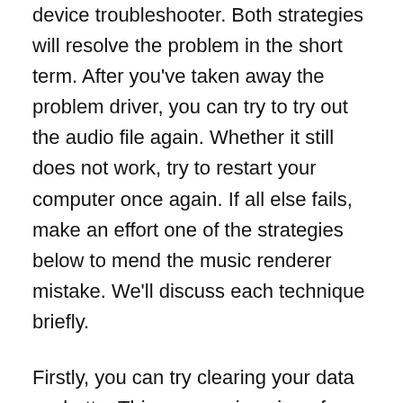device troubleshooter. Both strategies will resolve the problem in the short term. After you've taken away the problem driver, you can try to try out the audio file again. Whether it still does not work, try to restart your computer once again. If all else fails, make an effort one of the strategies below to mend the music renderer mistake. We'll discuss each technique briefly.
Firstly, you can try clearing your data cachette. This process is unique for each internet browser. For anyone who is having this matter when viewing YouTube, you are able to clear important computer data cache by simply going into the browser options. However, you will be cautious by doing this as it can